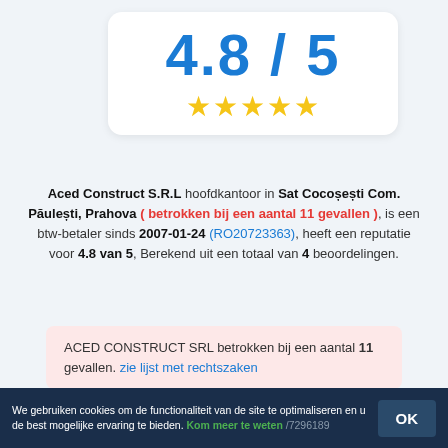[Figure (infographic): Rating card showing 4.8 / 5 score with 5 gold stars on white rounded card]
Aced Construct S.R.L hoofdkantoor in Sat Cocoșești Com. Păulești, Prahova ( betrokken bij een aantal 11 gevallen ), is een btw-betaler sinds 2007-01-24 (RO20723363), heeft een reputatie voor 4.8 van 5, Berekend uit een totaal van 4 beoordelingen.
ACED CONSTRUCT SRL betrokken bij een aantal 11 gevallen. zie lijst met rechtszaken
R O 2 0 7 2 3 3 6 3
We gebruiken cookies om de functionaliteit van de site te optimaliseren en u de best mogelijke ervaring te bieden. Kom meer te weten OK